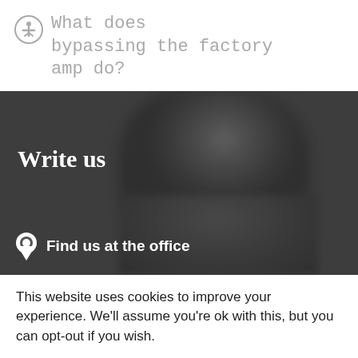What does bypassing the factory amp do?
[Figure (photo): Dark background with a blurred face, overlaid with 'Write us' heading and 'Find us at the office' with a location pin icon]
This website uses cookies to improve your experience. We'll assume you're ok with this, but you can opt-out if you wish.
Accept   Read More